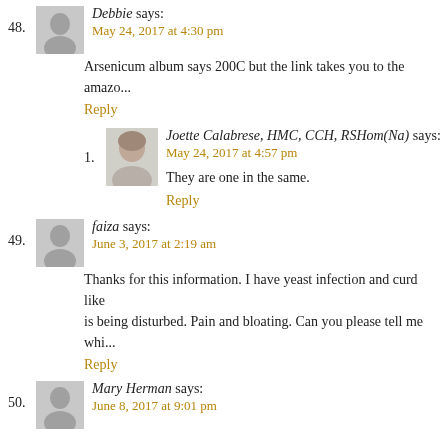48. Debbie says:
May 24, 2017 at 4:30 pm
Arsenicum album says 200C but the link takes you to the amazo...
Reply
1. Joette Calabrese, HMC, CCH, RSHom(Na) says:
May 24, 2017 at 4:57 pm
They are one in the same.
Reply
49. faiza says:
June 3, 2017 at 2:19 am
Thanks for this information. I have yeast infection and curd like... is being disturbed. Pain and bloating. Can you please tell me whi...
Reply
50. Mary Herman says:
June 8, 2017 at 9:01 pm